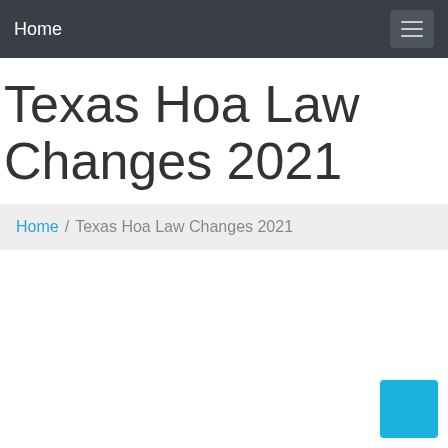Home
Texas Hoa Law Changes 2021
Home / Texas Hoa Law Changes 2021